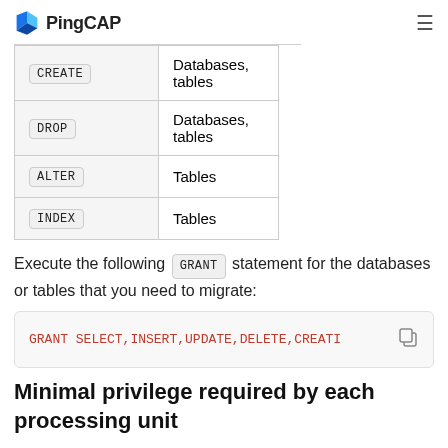PingCAP
| Privilege | Applies to |
| --- | --- |
| CREATE | Databases, tables |
| DROP | Databases, tables |
| ALTER | Tables |
| INDEX | Tables |
Execute the following GRANT statement for the databases or tables that you need to migrate:
GRANT SELECT,INSERT,UPDATE,DELETE,CREAT...
Minimal privilege required by each processing unit